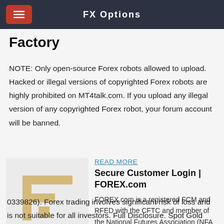FX Options
Factory
NOTE: Only open-source Forex robots allowed to upload. Hacked or illegal versions of copyrighted Forex robots are highly prohibited on MT4talk.com. If you upload any illegal version of any copyrighted Forex robot, your forum account will be banned.
[Figure (logo): FOREX.com logo: golden/tan stylized letter F shape on light gray background]
READ MORE
Secure Customer Login | FOREX.com
FOREX.com is a registered FCM and RFED with the CFTC and member of the National Futures Association (NFA # 0339826). Forex trading involves significant risk of loss and is not suitable for all investors. Full Disclosure. Spot Gold and Silver contracts are not subject to regulation under the U.S. Commodity